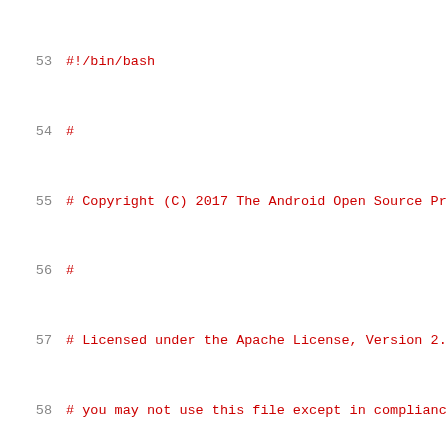[Figure (screenshot): Source code listing lines 53-74 of a bash shell script, showing copyright header comments and the beginning of an abs_script_dir_path function definition.]